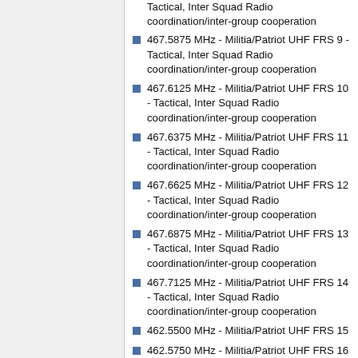Tactical, Inter Squad Radio coordination/inter-group cooperation
467.5875 MHz - Militia/Patriot UHF FRS 9 - Tactical, Inter Squad Radio coordination/inter-group cooperation
467.6125 MHz - Militia/Patriot UHF FRS 10 - Tactical, Inter Squad Radio coordination/inter-group cooperation
467.6375 MHz - Militia/Patriot UHF FRS 11 - Tactical, Inter Squad Radio coordination/inter-group cooperation
467.6625 MHz - Militia/Patriot UHF FRS 12 - Tactical, Inter Squad Radio coordination/inter-group cooperation
467.6875 MHz - Militia/Patriot UHF FRS 13 - Tactical, Inter Squad Radio coordination/inter-group cooperation
467.7125 MHz - Militia/Patriot UHF FRS 14 - Tactical, Inter Squad Radio coordination/inter-group cooperation
462.5500 MHz - Militia/Patriot UHF FRS 15
462.5750 MHz - Militia/Patriot UHF FRS 16 - Patriot Tactical, Vehicle Coordination (see also FRS ch 4)